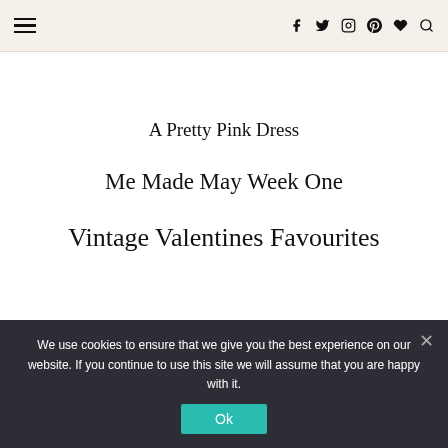≡  f  twitter  instagram  pinterest  heart  search
A Pretty Pink Dress
Me Made May Week One
Vintage Valentines Favourites
Privacy & Cookies: This site uses cookies. By continuing to use this
We use cookies to ensure that we give you the best experience on our website. If you continue to use this site we will assume that you are happy with it.
Ok